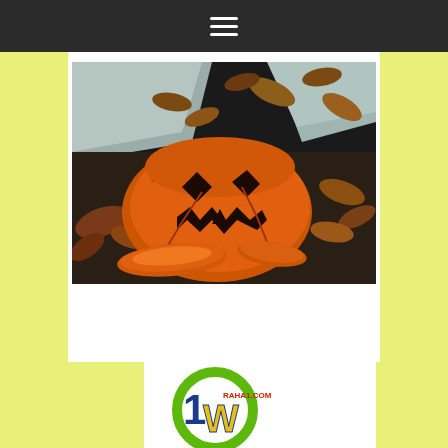Navigation bar with hamburger menu icon
[Figure (photo): A smashed and decomposing orange Halloween jack-o-lantern pumpkin lying on the ground surrounded by fallen autumn leaves. The pumpkin is broken apart with pieces scattered around it. Taken outdoors near a concrete step or curb.]
[Figure (logo): Raha1.com logo: a circular green ring with the number '1' and letter 'W' in blue/red/yellow colors, with text 'RAHA1.COM' inside the circle.]